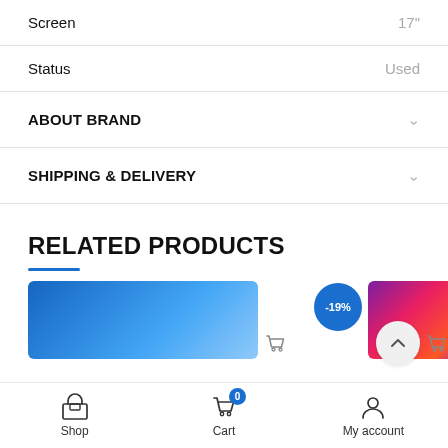Screen	17"
Status	Used
ABOUT BRAND
SHIPPING & DELIVERY
RELATED PRODUCTS
[Figure (screenshot): Two product thumbnails partially visible at the bottom of the page, with a -19% discount badge on the second product and shopping cart icons]
Shop   Cart (0)   My account